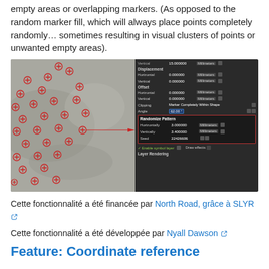empty areas or overlapping markers. (As opposed to the random marker fill, which will always place points completely randomly… sometimes resulting in visual clusters of points or unwanted empty areas).
[Figure (screenshot): Screenshot showing a map with red cross markers placed using randomize pattern fill on the left, and QGIS symbol layer settings panel on the right showing Randomize Pattern options with Horizontally 3.000000 mm, Vertically 3.400000 mm, Seed 22426606, Angle 62.00°, Clipping: Marker Completely Within Shape, Displacement and Offset at 0.]
Cette fonctionnalité a été financée par North Road, grâce à SLYR ↗
Cette fonctionnalité a été développée par Nyall Dawson ↗
Feature: Coordinate reference